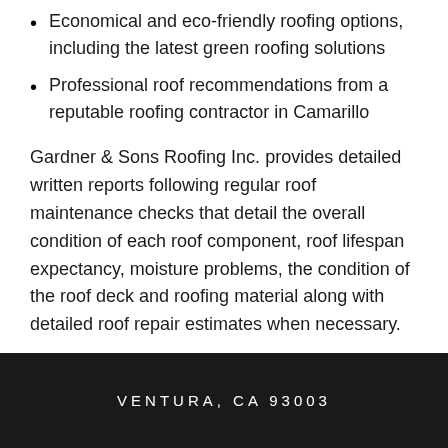Economical and eco-friendly roofing options, including the latest green roofing solutions
Professional roof recommendations from a reputable roofing contractor in Camarillo
Gardner & Sons Roofing Inc. provides detailed written reports following regular roof maintenance checks that detail the overall condition of each roof component, roof lifespan expectancy, moisture problems, the condition of the roof deck and roofing material along with detailed roof repair estimates when necessary.
VENTURA, CA 93003